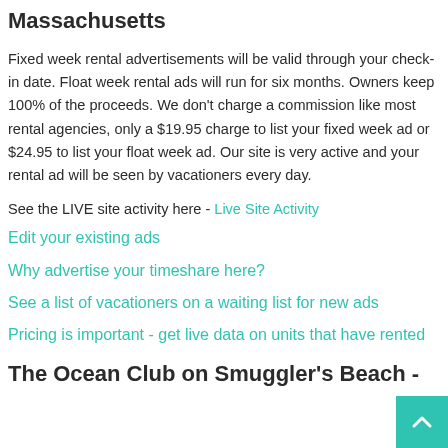Massachusetts
Fixed week rental advertisements will be valid through your check-in date. Float week rental ads will run for six months. Owners keep 100% of the proceeds. We don't charge a commission like most rental agencies, only a $19.95 charge to list your fixed week ad or $24.95 to list your float week ad. Our site is very active and your rental ad will be seen by vacationers every day.
See the LIVE site activity here - Live Site Activity
Edit your existing ads
Why advertise your timeshare here?
See a list of vacationers on a waiting list for new ads
Pricing is important - get live data on units that have rented
The Ocean Club on Smuggler's Beach -